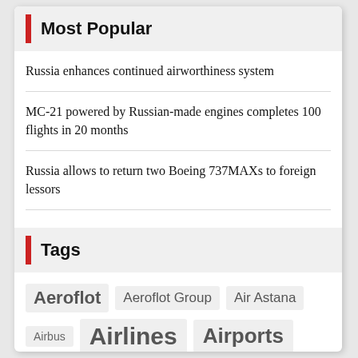Most Popular
Russia enhances continued airworthiness system
MC-21 powered by Russian-made engines completes 100 flights in 20 months
Russia allows to return two Boeing 737MAXs to foreign lessors
Tags
Aeroflot
Aeroflot Group
Air Astana
Airbus
Airlines
Airports
Air Travel
Boeing
Business Aviation
Cargo
Coronavirus (Covid-19)
delivery